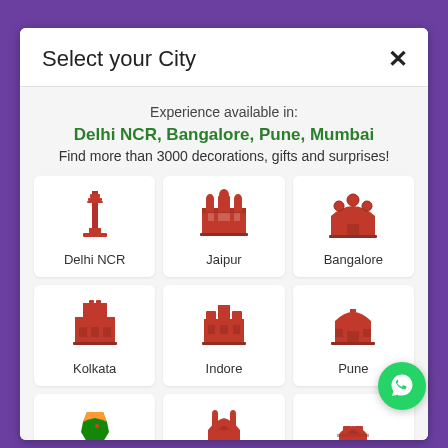Select your City
Experience available in: Delhi NCR, Bangalore, Pune, Mumbai
Find more than 3000 decorations, gifts and surprises!
[Figure (screenshot): City selection grid with 9 city cards: Delhi NCR, Jaipur, Bangalore, Kolkata, Indore, Pune, Across India, Hyderabad, Mumbai — each with a red illustrated icon of a landmark]
[Figure (logo): WhatsApp green circular button in bottom-right corner]